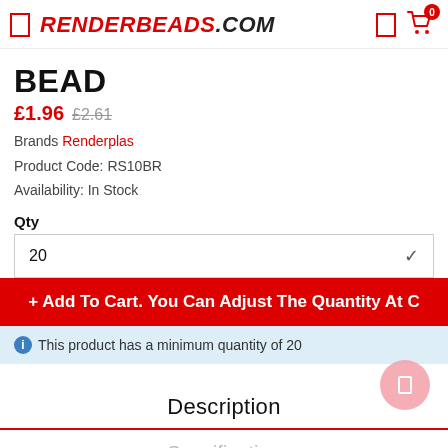RENDERBEADS.COM
BEAD
£1.96  £2.61
Brands Renderplas
Product Code: RS10BR
Availability: In Stock
Qty
20
+ Add To Cart. You Can Adjust The Quantity At C
This product has a minimum quantity of 20
Description
Specification